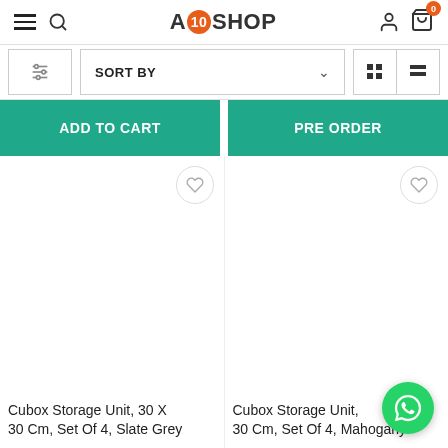A10SHOP — navigation header with hamburger, search, logo, user account, and cart (0 items)
SORT BY
ADD TO CART
PRE ORDER
[Figure (screenshot): Product card for: Cubox Storage Unit, 30 X 30 Cm, Set Of 4, Slate Grey — empty product image area with wishlist heart icon]
Cubox Storage Unit, 30 X 30 Cm, Set Of 4, Slate Grey
[Figure (screenshot): Product card for: Cubox Storage Unit, 30 Cm, Set Of 4, Mahogany — empty product image area with wishlist heart icon]
Cubox Storage Unit, 30 Cm, Set Of 4, Mahogany